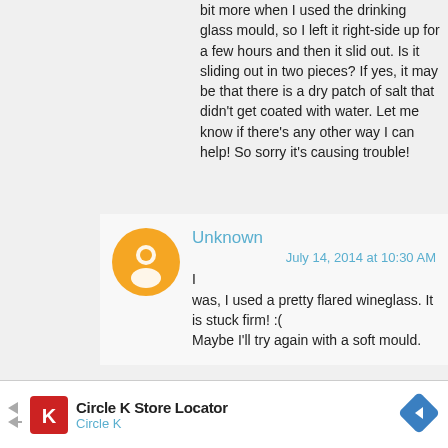bit more when I used the drinking glass mould, so I left it right-side up for a few hours and then it slid out. Is it sliding out in two pieces? If yes, it may be that there is a dry patch of salt that didn't get coated with water. Let me know if there's any other way I can help! So sorry it's causing trouble!
Unknown
July 14, 2014 at 10:30 AM
I was, I used a pretty flared wineglass. It is stuck firm! :( Maybe I'll try again with a soft mould.
[Figure (other): Circle K Store Locator advertisement banner with Circle K logo and navigation arrow icon]